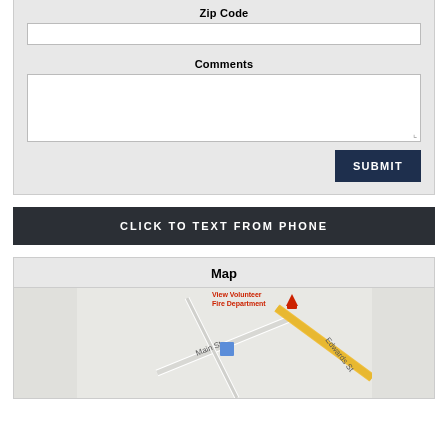Zip Code
Comments
SUBMIT
CLICK TO TEXT FROM PHONE
Map
[Figure (map): Google Maps style map showing View Volunteer Fire Department location with Main St and Edwards St labels, a blue building marker, and a yellow road.]